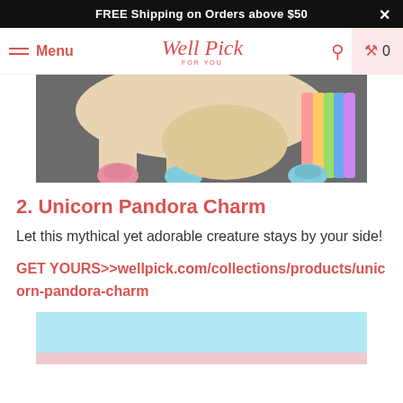FREE Shipping on Orders above $50
Menu  Well Pick FOR YOU  🔍  🛒 0
[Figure (photo): Close-up photo of a stuffed unicorn plush toy lying on a grey fabric surface, showing legs with pink and blue rounded hooves and a rainbow-colored tail]
2. Unicorn Pandora Charm
Let this mythical yet adorable creature stays by your side!
GET YOURS>>wellpick.com/collections/products/unicorn-pandora-charm
[Figure (photo): Partial view of another product image, showing a light blue background with a pink stripe, cropped at the bottom of the page]